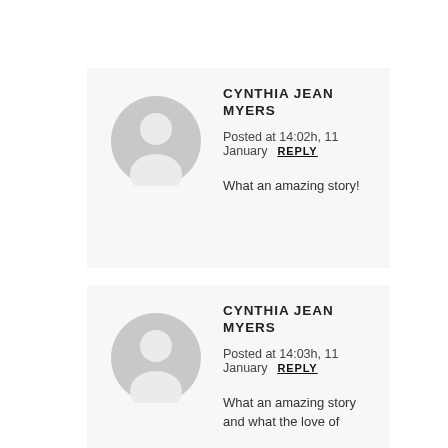CYNTHIA JEAN MYERS
Posted at 14:02h, 11 January REPLY
What an amazing story!
CYNTHIA JEAN MYERS
Posted at 14:03h, 11 January REPLY
What an amazing story and what the love of